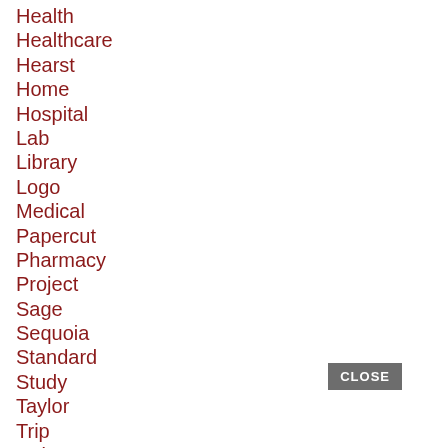Health
Healthcare
Hearst
Home
Hospital
Lab
Library
Logo
Medical
Papercut
Pharmacy
Project
Sage
Sequoia
Standard
Study
Taylor
Trip
Twitter
Valley
Well
Western
Wikipedia